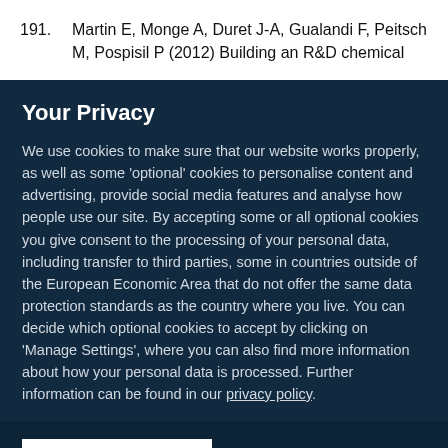191. Martin E, Monge A, Duret J-A, Gualandi F, Peitsch M, Pospisil P (2012) Building an R&D chemical
Your Privacy
We use cookies to make sure that our website works properly, as well as some 'optional' cookies to personalise content and advertising, provide social media features and analyse how people use our site. By accepting some or all optional cookies you give consent to the processing of your personal data, including transfer to third parties, some in countries outside of the European Economic Area that do not offer the same data protection standards as the country where you live. You can decide which optional cookies to accept by clicking on 'Manage Settings', where you can also find more information about how your personal data is processed. Further information can be found in our privacy policy.
Accept all cookies
Manage preferences